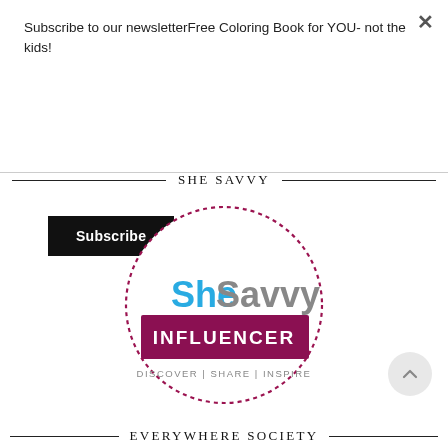Subscribe to our newsletterFree Coloring Book for YOU- not the kids!
Subscribe
SHE SAVVY
[Figure (logo): SheSavvy Influencer badge: circular dotted border, 'SheSavvy' text in blue/grey, dark magenta banner with 'INFLUENCER' in white bold, 'DISCOVER | SHARE | INSPIRE' text below]
EVERYWHERE SOCIETY